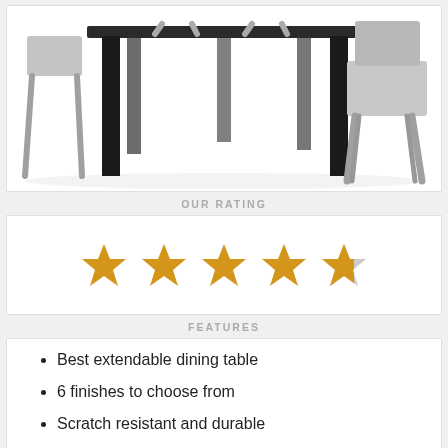[Figure (photo): Product photo showing a modern dining table with black legs and gray chairs on a white background, viewed from a low angle.]
OUR RATING
[Figure (infographic): 5-star rating display showing 4 full gold stars and 1 partial gold star]
FEATURES
Best extendable dining table
6 finishes to choose from
Scratch resistant and durable